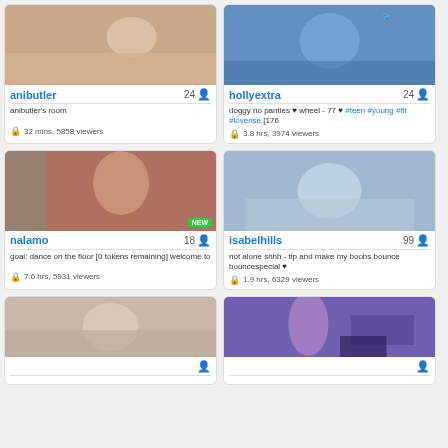[Figure (screenshot): Livestream thumbnail for anibutler]
anibutler 24
anibutler's room
32 mins, 5858 viewers
[Figure (screenshot): Livestream thumbnail for hollyextra]
hollyextra 24
doggy no panties ♥ wheel - 77 ♥ #teen #young #fit #lovense [176
3.8 hrs, 3974 viewers
[Figure (screenshot): Livestream thumbnail for nalamo with NEW badge]
nalamo 18
goal: dance on the floor [0 tokens remaining] welcome to
7.6 hrs, 5931 viewers
[Figure (screenshot): Livestream thumbnail for isabelhills]
isabelhills 99
not alone shhh - tip and make my boobs bounce bouncespecial ♥
1.9 hrs, 6329 viewers
[Figure (screenshot): Livestream thumbnail for fifth streamer]
[Figure (screenshot): Livestream thumbnail for sixth streamer]